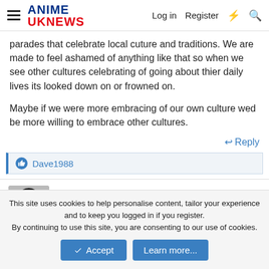ANIME UKNEWS — Log in  Register
parades that celebrate local cuture and traditions. We are made to feel ashamed of anything like that so when we see other cultures celebrating of going about thier daily lives its looked down on or frowned on.

Maybe if we were more embracing of our own culture wed be more willing to embrace other cultures.
↩ Reply
Dave1988
Watanabe Ken
Magical Girl
This site uses cookies to help personalise content, tailor your experience and to keep you logged in if you register.
By continuing to use this site, you are consenting to our use of cookies.